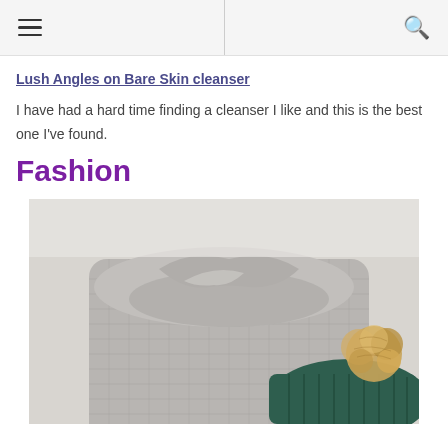Lush Angles on Bare Skin cleanser
I have had a hard time finding a cleanser I like and this is the best one I've found.
Fashion
[Figure (photo): Close-up photo of a grey knit sweater/scarf folded and twisted at the top, with a dark green ribbed beanie hat with a faux fur pompom visible in the lower right corner, on a light background.]